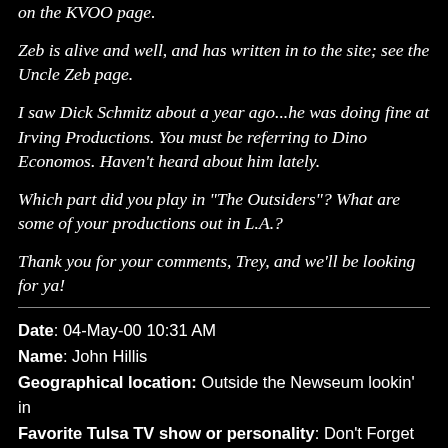on the KVOO page.
Zeb is alive and well, and has written in to the site; see the Uncle Zeb page.
I saw Dick Schmitz about a year ago...he was doing fine at Irving Productions. You must be referring to Dino Economos. Haven't heard about him lately.
Which part did you play in "The Outsiders"? What are some of your productions out in L.A.?
Thank you for your comments, Trey, and we'll be looking for ya!
Date: 04-May-00 10:31 AM
Name: John Hillis
Geographical location: Outside the Newseum lookin' in
Favorite Tulsa TV show or personality: Don't Forget Poor Ole Pappy
How did you find TTM? It Found ME!